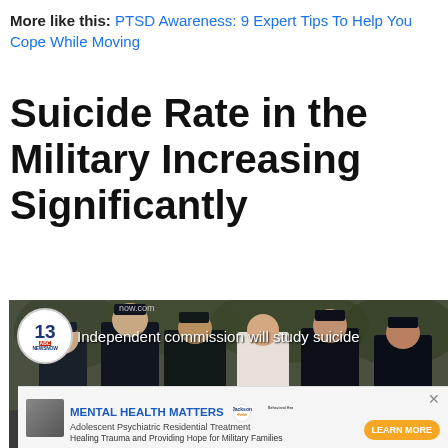More like this: PTSD Awareness: 9 Expert Tips To Help You Cope While Moving
Suicide Rate in the Military Increasing Significantly
[Figure (screenshot): News video screenshot showing military personnel at a ceremony, with 13 News Now logo badge and ticker text 'Independent commission will study suicide']
[Figure (infographic): Advertisement banner: MENTAL HEALTH MATTERS - Adolescent Psychiatric Residential Treatment - Jackson-Feild - Healing Trauma and Providing Hope for Military Families - LEARN MORE button]